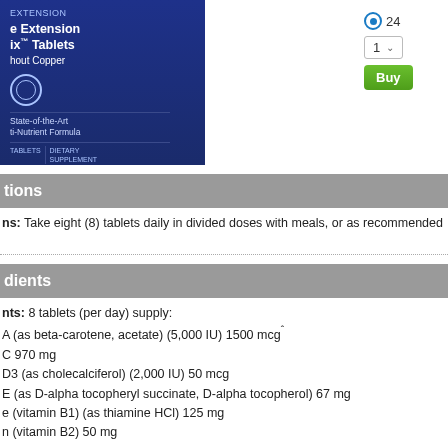[Figure (photo): Blue supplement bottle labeled Life Extension Mix Tablets Without Copper - State-of-the-Art Multi-Nutrient Formula]
24
1
Buy
tions
ns: Take eight (8) tablets daily in divided doses with meals, or as recommended
dients
nts: 8 tablets (per day) supply:
A (as beta-carotene, acetate) (5,000 IU) 1500 mcgˆ
C 970 mg
D3 (as cholecalciferol) (2,000 IU) 50 mcg
E (as D-alpha tocopheryl succinate, D-alpha tocopherol) 67 mg
e (vitamin B1) (as thiamine HCl) 125 mg
n (vitamin B2) 50 mg
90 mg•
B6 [as pyridoxal 5]-phosphate (100 mcg) pyridoxine HCl (Form)] 125